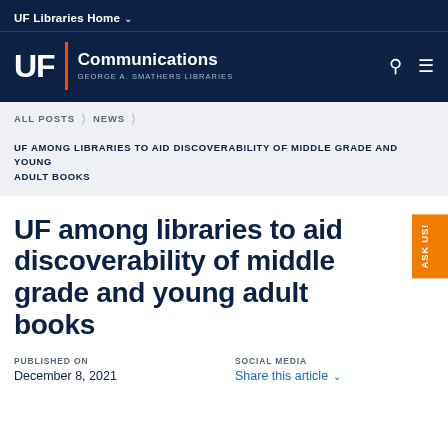UF Libraries Home
UF | Communications | GEORGE A. SMATHERS LIBRARIES
ALL POSTS > NEWS
UF AMONG LIBRARIES TO AID DISCOVERABILITY OF MIDDLE GRADE AND YOUNG ADULT BOOKS
UF among libraries to aid discoverability of middle grade and young adult books
PUBLISHED ON
December 8, 2021
SOCIAL MEDIA
Share this article